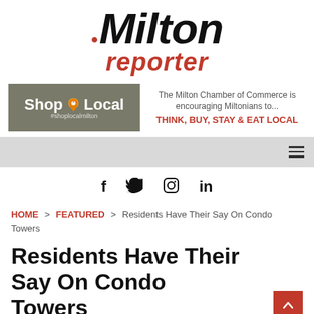[Figure (logo): Milton Reporter newspaper logo with red maple leaf above 'Milton' in black bold italic and 'reporter' in red bold italic below]
[Figure (infographic): Shop Local Milton Chamber of Commerce advertisement banner. Left side has grey background with 'Shop Local #shoplocalmilton' text and pin/maple icon. Right side has text: 'The Milton Chamber of Commerce is encouraging Miltonians to...' and 'THINK, BUY, STAY & EAT LOCAL' in red.]
[Figure (screenshot): Grey navigation bar with hamburger menu icon on the right]
[Figure (infographic): Social media icons row: Facebook (f), Twitter (bird), Instagram (camera circle), LinkedIn (in)]
HOME > FEATURED > Residents Have Their Say On Condo Towers
Residents Have Their Say On Condo Towers